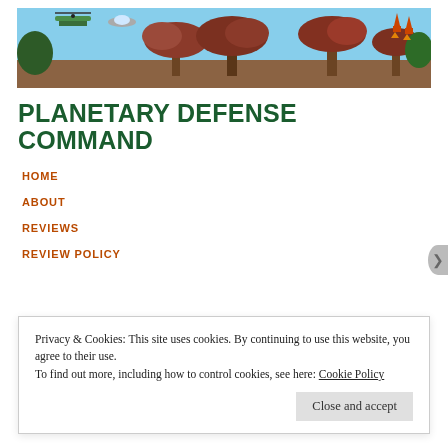[Figure (illustration): A colorful fantasy/game scene banner with exotic trees, helicopters, UFOs, and rockets against a blue sky.]
PLANETARY DEFENSE COMMAND
HOME
ABOUT
REVIEWS
REVIEW POLICY
Privacy & Cookies: This site uses cookies. By continuing to use this website, you agree to their use.
To find out more, including how to control cookies, see here: Cookie Policy
Close and accept